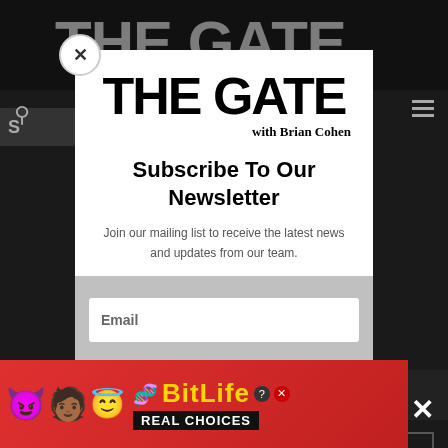[Figure (screenshot): Dark website background showing partial 'THE GATE' header, search icon, hamburger menu icon, and dark content areas]
[Figure (logo): THE GATE with Brian Cohen logo in large bold black text]
Subscribe To Our Newsletter
Join our mailing list to receive the latest news and updates from our team.
Email
[Figure (infographic): BitLife advertisement banner with emojis, sperm icon, and 'REAL CHOICES' text on red background]